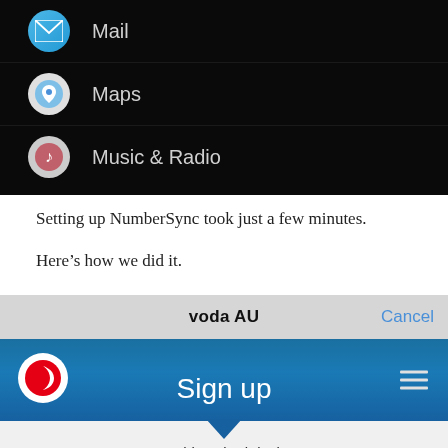[Figure (screenshot): Dark-themed mobile app list showing Mail, Maps, and Music & Radio items with circular icons]
Setting up NumberSync took just a few minutes.
Here's how we did it.
[Figure (screenshot): Vodafone AU mobile browser screenshot showing a 'Sign up' page header with Vodafone logo, hamburger menu, and 'For this paired device' text below]